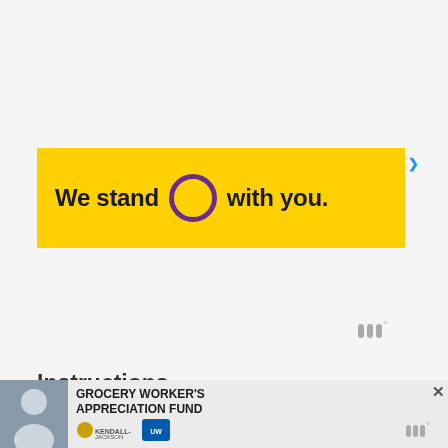[Figure (other): Yellow advertisement banner reading 'We stand O with you.' where O is a purple circle outline. Blue arrow indicator on right edge.]
[Figure (logo): Watermark logo: three vertical bars followed by a degree symbol, in gray.]
Instructions
1. Prepare a canning pot and enough jars to hold
[Figure (other): Bottom advertisement bar: Grocery Worker's Appreciation Fund with Kendall-Jackson and United Way logos, person photo on left, close button top right.]